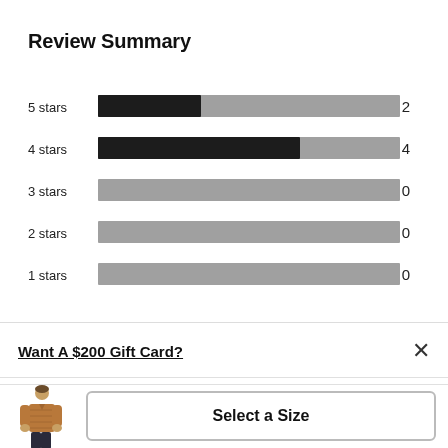Review Summary
[Figure (bar-chart): Review Summary]
Want A $200 Gift Card?
[Figure (photo): Man wearing brown quilted jacket, product thumbnail]
Select a Size